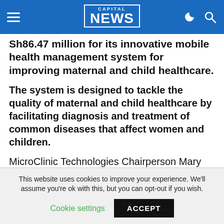CAPITAL NEWS
Sh86.47 million for its innovative mobile health management system for improving maternal and child healthcare.
The system is designed to tackle the quality of maternal and child healthcare by facilitating diagnosis and treatment of common diseases that affect women and children.
MicroClinic Technologies Chairperson Mary Matu said that the money will be used to improve the health of children especially under the age of five years.
This website uses cookies to improve your experience. We'll assume you're ok with this, but you can opt-out if you wish. Cookie settings ACCEPT